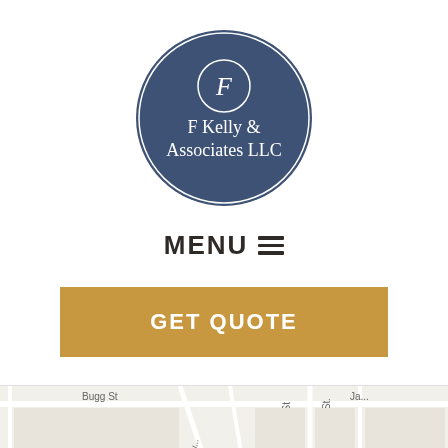[Figure (logo): F Kelly & Associates LLC circular logo with dark blue background, letter F at top inside inner circle, company name below]
MENU ☰
GET QUOTE
[Figure (map): Street map showing Bugg St, Stonewall St, Morgan St, Vine St, Crowell St and surrounding streets]